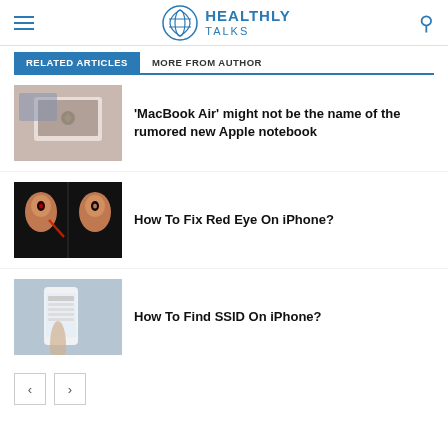HEALTHLY TALKS
RELATED ARTICLES | MORE FROM AUTHOR
[Figure (screenshot): MacBook laptop thumbnail image]
'MacBook Air' might not be the name of the rumored new Apple notebook
[Figure (photo): Red Eye fix on iPhone before/after photo comparison]
How To Fix Red Eye On iPhone?
[Figure (photo): Hand holding iPhone showing settings/SSID screen]
How To Find SSID On iPhone?